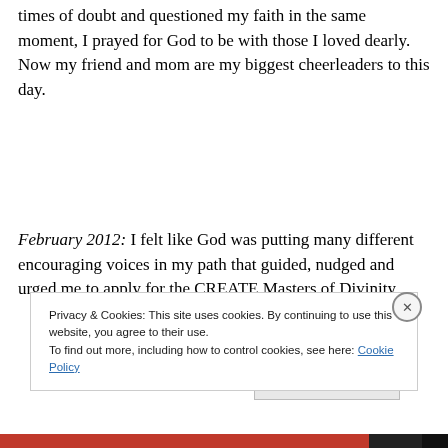times of doubt and questioned my faith in the same moment, I prayed for God to be with those I loved dearly. Now my friend and mom are my biggest cheerleaders to this day.
February 2012: I felt like God was putting many different encouraging voices in my path that guided, nudged and urged me to apply for the CREATE Masters of Divinity
Privacy & Cookies: This site uses cookies. By continuing to use this website, you agree to their use.
To find out more, including how to control cookies, see here: Cookie Policy
Close and accept